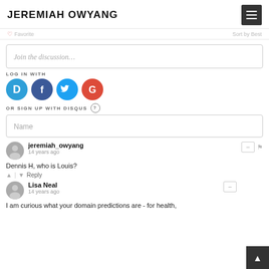JEREMIAH OWYANG
Favorite   Sort by Best
Join the discussion…
LOG IN WITH
[Figure (infographic): Social login icons: Disqus (D), Facebook (f), Twitter bird, Google (G)]
OR SIGN UP WITH DISQUS ?
Name
jeremiah_owyang
14 years ago
Dennis H, who is Louis?
↑ | ↓  Reply
Lisa Neal
14 years ago
I am curious what your domain predictions are - for health,